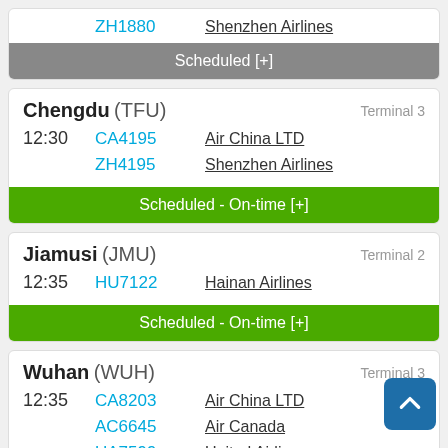| Time | Flight | Airline |
| --- | --- | --- |
|  | ZH1880 | Shenzhen Airlines |
Scheduled [+]
Chengdu (TFU) — Terminal 3
| Time | Flight | Airline |
| --- | --- | --- |
| 12:30 | CA4195 | Air China LTD |
|  | ZH4195 | Shenzhen Airlines |
Scheduled - On-time [+]
Jiamusi (JMU) — Terminal 2
| Time | Flight | Airline |
| --- | --- | --- |
| 12:35 | HU7122 | Hainan Airlines |
Scheduled - On-time [+]
Wuhan (WUH) — Terminal 3
| Time | Flight | Airline |
| --- | --- | --- |
| 12:35 | CA8203 | Air China LTD |
|  | AC6645 | Air Canada |
|  | UA7599 | United Airlines |
|  | ZH4697 | Shenzhen Airlines |